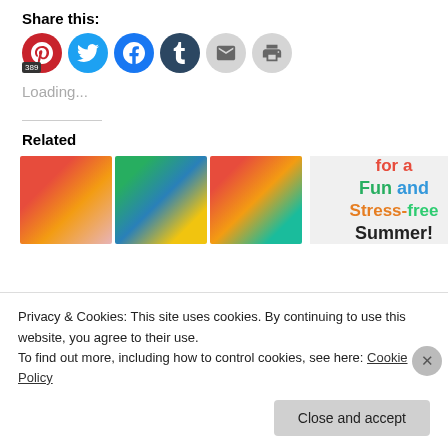Share this:
[Figure (infographic): Social share buttons: Pinterest (389), Twitter, Facebook, Tumblr, Email, Print]
Loading...
Related
[Figure (photo): Three related post thumbnail images side by side, and a colorful text image reading 'for a Fun and Stress-free Summer!']
Privacy & Cookies: This site uses cookies. By continuing to use this website, you agree to their use.
To find out more, including how to control cookies, see here: Cookie Policy
Close and accept